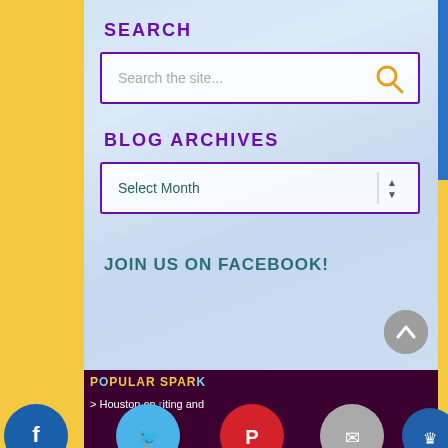SEARCH
[Figure (screenshot): Search input box with placeholder 'Search the site...' and a gold magnifying glass icon, bordered in purple]
BLOG ARCHIVES
[Figure (screenshot): Dropdown select box with 'Select Month' placeholder, bordered in purple with vertical arrows]
JOIN US ON FACEBOOK!
POPULAR SPAR
> Houston on riting and
[Figure (infographic): Row of social media icons: Facebook (blue), Twitter (light blue), Pinterest (red), Email (gray), Crown/other (blue)]